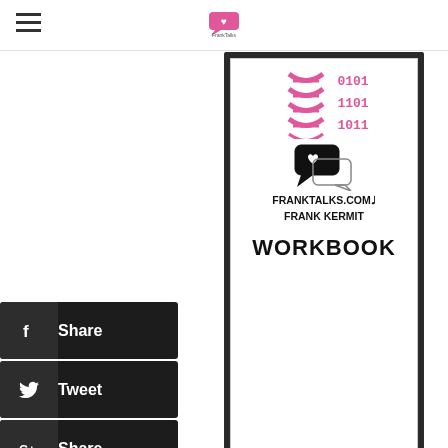FRANKTALKS.COM - Frank Kermit
[Figure (illustration): Book cover: FrankTalks.com Frank Kermit Workbook with DNA and binary code imagery in pink, and a chat bubble with heart icon]
LEARN TO SPOT THE EMOTIONAL NEEDS OF WOMEN IN YOUR DAILY LIFE
[Figure (illustration): Book cover: Mastering The Emotional Needs Of Men - ALLY VS ENEMY]
Share (Facebook)
Tweet (Twitter)
Share (Google+)
Share (LinkedIn)
Pin It (Pinterest)
Share (Blogger)
More